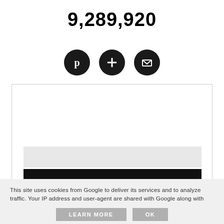9,289,920
[Figure (infographic): Three circular icon buttons: Pinterest icon (P), Plus icon (+), and Email/envelope icon]
[Figure (other): A bordered white content box area, with a light gray rectangular bar and a black rectangular bar inside the lower portion]
This site uses cookies from Google to deliver its services and to analyze traffic. Your IP address and user-agent are shared with Google along with performance and security metrics to ensure quality of service, generate usage statistics, and to detect and address abuse.
LEARN MORE    OK